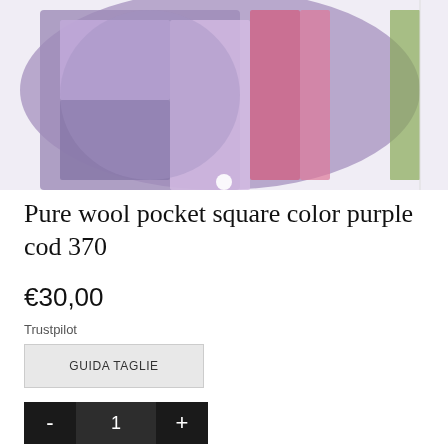[Figure (photo): Close-up of a purple wool pocket square with pink stripe, folded and displayed on white background]
Pure wool pocket square color purple cod 370
€30,00
Trustpilot
GUIDA TAGLIE
1
Aggiungi al carello